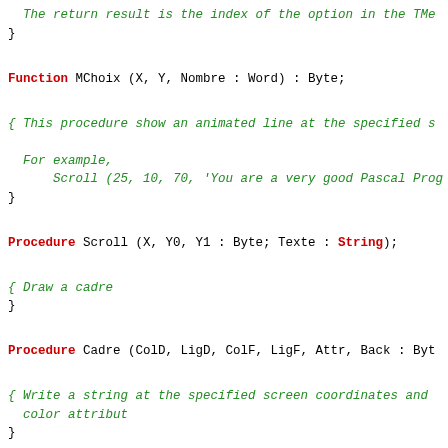The return result is the index of the option in the TMe
}
Function MChoix (X, Y, Nombre : Word) : Byte;
{ This procedure show an animated line at the specified s

  For example,
      Scroll (25, 10, 70, 'You are a very good Pascal Prog
}
Procedure Scroll (X, Y0, Y1 : Byte; Texte : String);
{ Draw a cadre
}
Procedure Cadre (ColD, LigD, ColF, LigF, Attr, Back : Byt
{ Write a string at the specified screen coordinates and
  color attribut
}
Procedure WriteStrXY (X, Y, TAttr, TBack : Word; Texte :
Implementation
Var
    TextBack  : Byte;
    Ch        : Char;
    sBlankLine: String;